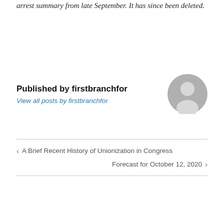arrest summary from late September. It has since been deleted.
Published by firstbranchfor
View all posts by firstbranchfor
[Figure (illustration): Generic user avatar icon — gray circular silhouette of a person]
‹ A Brief Recent History of Unionization in Congress
Forecast for October 12, 2020 ›